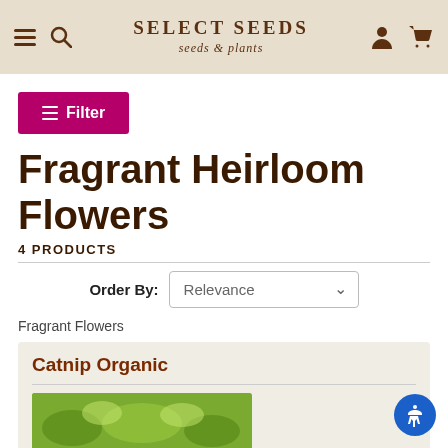SELECT SEEDS seeds & plants
≡ Filter
Fragrant Heirloom Flowers
4 PRODUCTS
Order By: Relevance
Fragrant Flowers
Catnip Organic
[Figure (photo): Green plant/flower photo partially visible at bottom of page]